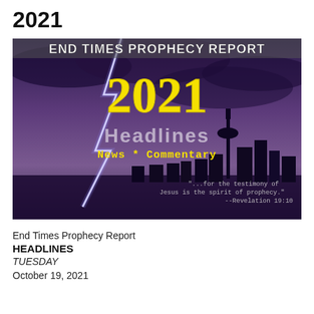2021
[Figure (illustration): End Times Prophecy Report banner image showing a dramatic lightning storm over a city skyline (Toronto CN Tower visible), with the text: 'END TIMES PROPHECY REPORT' in white at top, '2021' in large yellow text, 'Headlines' in semi-transparent white, 'News * Commentary' in yellow, and a quote '"...for the testimony of Jesus is the spirit of prophecy." --Revelation 19:10' in the lower right.]
End Times Prophecy Report
HEADLINES
TUESDAY
October 19, 2021